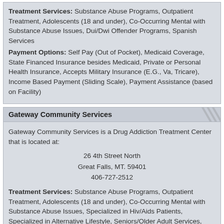Treatment Services: Substance Abuse Programs, Outpatient Treatment, Adolescents (18 and under), Co-Occurring Mental with Substance Abuse Issues, Dui/Dwi Offender Programs, Spanish Services
Payment Options: Self Pay (Out of Pocket), Medicaid Coverage, State Financed Insurance besides Medicaid, Private or Personal Health Insurance, Accepts Military Insurance (E.G., Va, Tricare), Income Based Payment (Sliding Scale), Payment Assistance (based on Facility)
Gateway Community Services
Gateway Community Services is a Drug Addiction Treatment Center that is located at:
26 4th Street North
Great Falls, MT. 59401
406-727-2512
Treatment Services: Substance Abuse Programs, Outpatient Treatment, Adolescents (18 and under), Co-Occurring Mental with Substance Abuse Issues, Specialized in Hiv/Aids Patients, Specialized in Alternative Lifestyle, Seniors/Older Adult Services, Caters to Pregnant/Postpartum Women, Women Only, Men Only, Dui/Dwi Offender Programs, Criminal Justice Client Programs, Specialized in Hearing Impaired Clients
Payment Options: Self Pay (Out of Pocket), Medicaid Coverage, State Financed Insurance besides Medicaid, Private or Personal Health Insurance, Accepts Military Insurance (E.G., Va, Tricare)